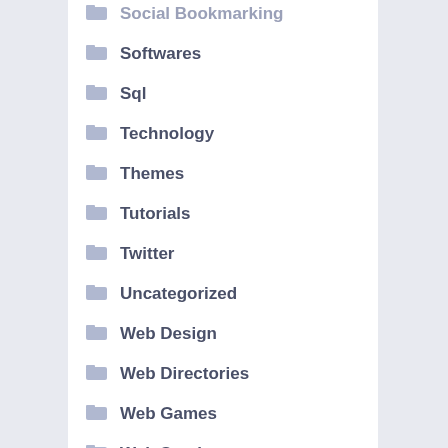Social Bookmarking
Softwares
Sql
Technology
Themes
Tutorials
Twitter
Uncategorized
Web Design
Web Directories
Web Games
Web Services
Web Templates